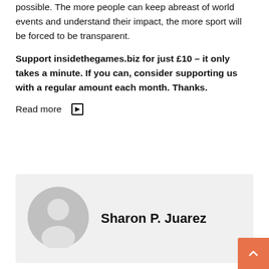possible. The more people can keep abreast of world events and understand their impact, the more sport will be forced to be transparent.
Support insidethegames.biz for just £10 – it only takes a minute. If you can, consider supporting us with a regular amount each month. Thanks.
Read more ▶
Sharon P. Juarez